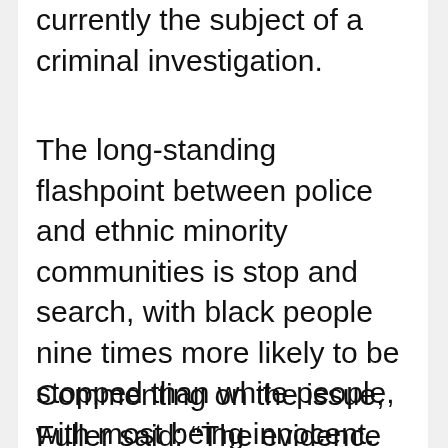currently the subject of a criminal investigation.
The long-standing flashpoint between police and ethnic minority communities is stop and search, with black people nine times more likely to be stopped than white people, with most being innocent.
Commenting on the issue, Fuller said: “The evidence does not